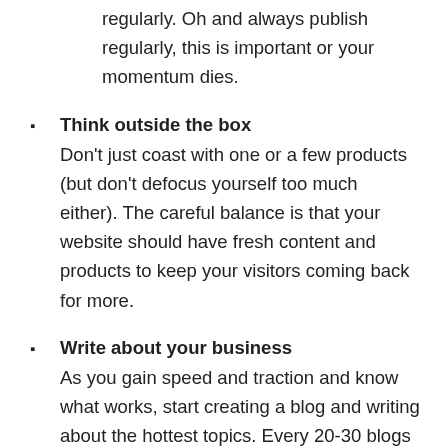regularly. Oh and always publish regularly, this is important or your momentum dies.
Think outside the box
Don't just coast with one or a few products (but don't defocus yourself too much either). The careful balance is that your website should have fresh content and products to keep your visitors coming back for more.
Write about your business
As you gain speed and traction and know what works, start creating a blog and writing about the hottest topics. Every 20-30 blogs or so you'll hit on a topic that'll gain 10-20x more traffic than the others and every 100 blogs you'll hit on a topic that gains 100x more traffic. First of all, remember these, this is a hot product niche you need to hit, and second of all, enjoy